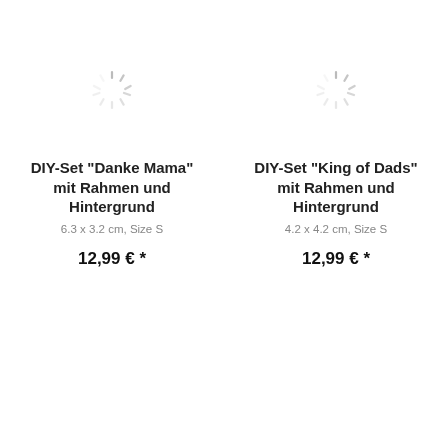[Figure (illustration): Loading spinner icon (circular dashed/radial lines pattern), gray, indicating image loading]
DIY-Set "Danke Mama" mit Rahmen und Hintergrund
6.3 x 3.2 cm, Size S
12,99 € *
[Figure (illustration): Loading spinner icon (circular dashed/radial lines pattern), gray, indicating image loading]
DIY-Set "King of Dads" mit Rahmen und Hintergrund
4.2 x 4.2 cm, Size S
12,99 € *